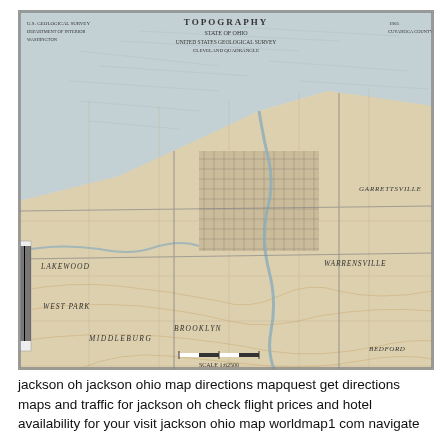[Figure (map): Topographic map of the Cleveland, Ohio area near Lake Erie, showing streets, neighborhoods (Lakewood, West Park, Brooklyn, Garrettsville, Warrensville, Middleburg), topographic contour lines, rivers, and roads. Vintage USGS-style printed map with sepia tones. Title reads 'TOPOGRAPHY' at top center. A barcode label is affixed to the left edge.]
jackson oh jackson ohio map directions mapquest get directions maps and traffic for jackson oh check flight prices and hotel availability for your visit jackson ohio map worldmap1 com navigate